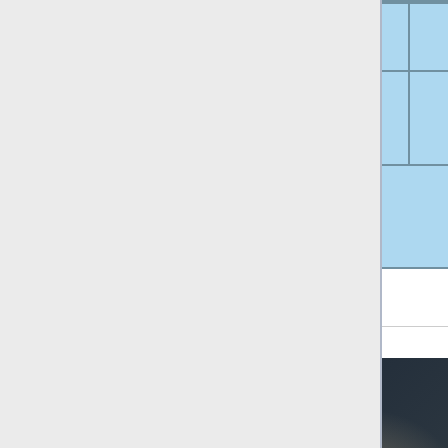| Name | Value1 | Value2 | Value3 |
| --- | --- | --- | --- |
| ★Awakening Blood | 450 | 0 | - |
Videos
Juicy Bits - Vice
[Figure (screenshot): YouTube video thumbnail for 'Juicy Bits - KO...' showing a cartoon avatar with glasses on left, red YouTube play button in center, fighting game characters on right background]
Vice Hit Boxes
[Figure (screenshot): YouTube video thumbnail for 'Vice Hit Boxes' showing a red/orange circular avatar icon on left with pause icon, green background with fighting game characters]